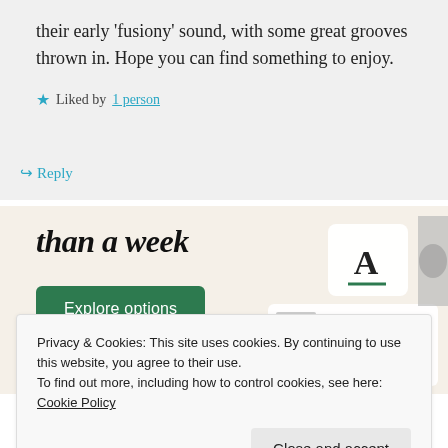their early 'fusiony' sound, with some great grooves thrown in. Hope you can find something to enjoy.
★ Liked by 1 person
↪ Reply
[Figure (screenshot): Advertisement banner showing 'than a week' text in bold italic, an 'Explore options' green button, and a mockup of a website/app interface with food images and an 'A' logo card on a beige background.]
Privacy & Cookies: This site uses cookies. By continuing to use this website, you agree to their use.
To find out more, including how to control cookies, see here: Cookie Policy
Close and accept